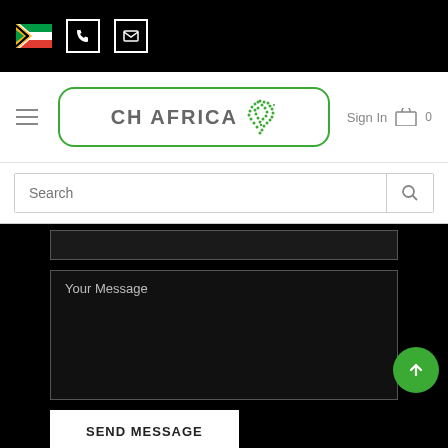[Figure (screenshot): Top black navigation bar with South Africa flag, phone icon box, and email icon box]
[Figure (logo): CH Africa logo with green Africa map shape inside a rounded green border]
Sign In
0
Search
Your Message
SEND MESSAGE
Please note, we use cookies to offer you a better user experience through analysing
Got it